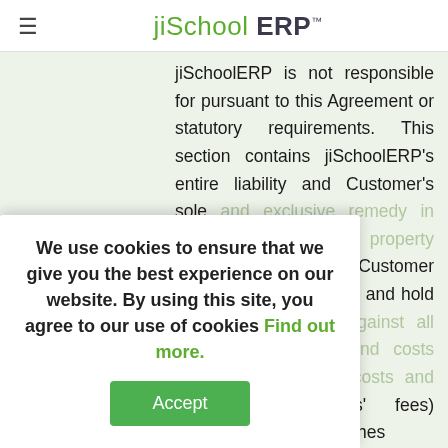jiSchool ERP™
jiSchoolERP is not responsible for pursuant to this Agreement or statutory requirements. This section contains jiSchoolERP's entire liability and Customer's sole and exclusive remedy in case of intellectual property rights infringements. Customer shall indemnify, defend, and hold harmless from and against all liabilities, damages, and costs (including settlement costs and reasonable attorneys' fees) arising out of any breaches
We use cookies to ensure that we give you the best experience on our website. By using this site, you agree to our use of cookies Find out more.